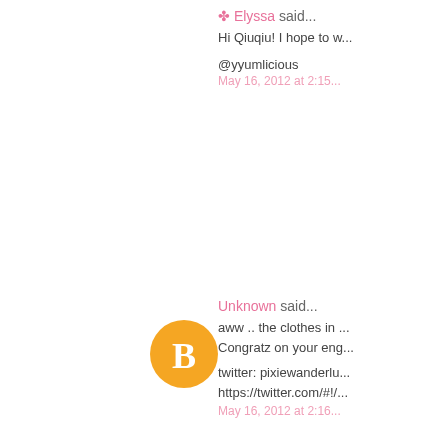✤ Elyssa said...
Hi Qiuqiu! I hope to w...
@yyumlicious
May 16, 2012 at 2:15...
[Figure (logo): Orange circle with white blogger 'B' icon avatar]
Unknown said...
aww .. the clothes in ... Congratz on your eng...
twitter: pixiewanderlu... https://twitter.com/#!/...
May 16, 2012 at 2:16...
jolene said...
i like set 1 but the siz...
May 16, 2012 at 2:16...
Maria Veronica said...
Hello QiuQiu~
I'd love to win set 1/...